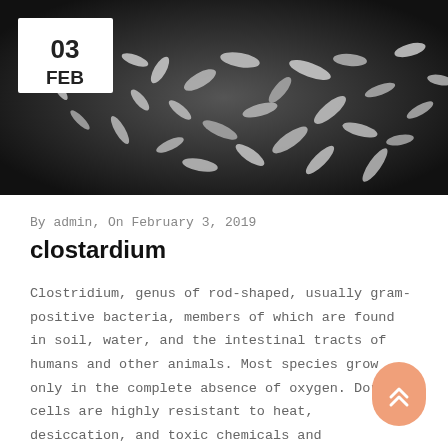[Figure (photo): Scanning electron microscope image of Clostridium bacteria, rod-shaped organisms shown in grayscale on a dark background. A white date badge showing '03 FEB' is overlaid in the top-left corner.]
By admin, On February 3, 2019
clostardium
Clostridium, genus of rod-shaped, usually gram-positive bacteria, members of which are found in soil, water, and the intestinal tracts of humans and other animals. Most species grow only in the complete absence of oxygen. Dormant cells are highly resistant to heat, desiccation, and toxic chemicals and detergents. The species are variable in size. A typical species, C.